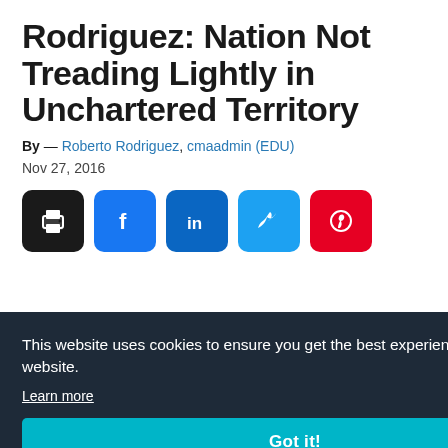Rodriguez: Nation Not Treading Lightly in Unchartered Territory
By — Roberto Rodriguez, cmaadmin (EDU)
Nov 27, 2016
[Figure (infographic): Row of social share buttons: print (black), Facebook (blue), LinkedIn (dark blue), Twitter (light blue), Pinterest (red)]
This website uses cookies to ensure you get the best experience on our website. Learn more
Got it!
[Figure (photo): Partial protest image at bottom showing signs including 'BUILD THE RESISTANCE' and 'NOT']